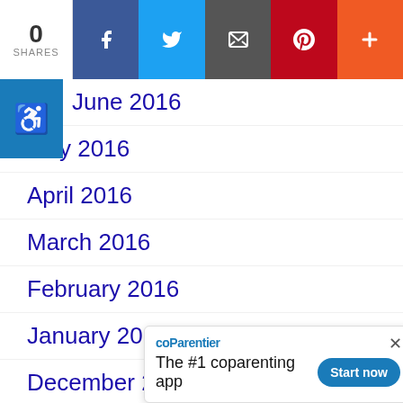[Figure (other): Social share bar with 0 SHARES count, Facebook, Twitter, Email, Pinterest, and More (+) buttons]
June 2016
May 2016
April 2016
March 2016
February 2016
January 2016
December 2015
November 2015
October 2015
September 2015 (partially visible)
August 2015 (partially visible)
[Figure (other): Ad popup for coParenter app: logo 'coParenter', text 'The #1 coparenting app', 'Start now' button, and close X]